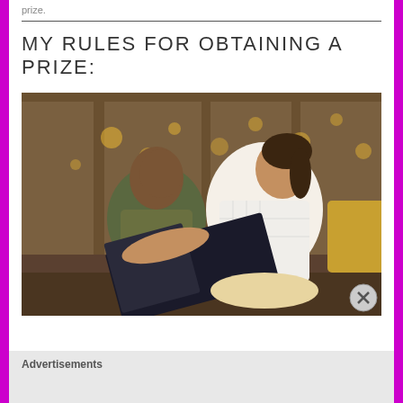prize.
MY RULES FOR OBTAINING A PRIZE:
[Figure (photo): Two children (a boy and a girl) sitting together reading a book. The girl in a white checkered shirt holds the book open; the boy in a grey shirt looks on. Background shows warm bokeh lights and wooden interior.]
Advertisements